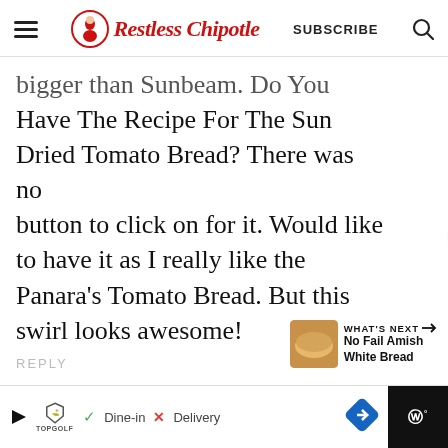Restless Chipotle — SUBSCRIBE
bigger than Sunbeam. Do You Have The Recipe For The Sun Dried Tomato Bread? There was no button to click on for it. Would like to have it as I really like the Panara's Tomato Bread. But this swirl looks awesome!
REPLY
[Figure (infographic): Ad bar with Topgolf logo, Dine-in and Delivery options, blue arrow button, and black panel on right]
[Figure (infographic): What's Next widget: thumbnail of bread, label WHAT'S NEXT with arrow, text No Fail Amish White Bread]
[Figure (infographic): Red heart save button and grey share button on right side of page]